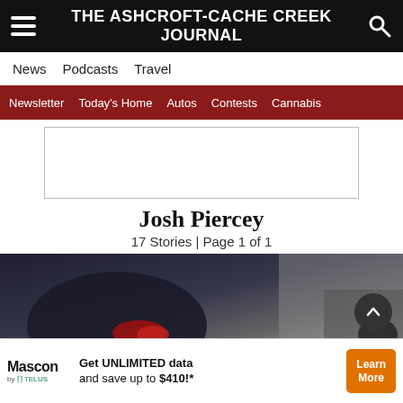THE ASHCROFT-CACHE CREEK JOURNAL
News  Podcasts  Travel
Newsletter  Today's Home  Autos  Contests  Cannabis
[Figure (other): Empty advertisement placeholder box with border]
Josh Piercey
17 Stories | Page 1 of 1
[Figure (photo): Person in dark jacket holding red object, partial view, dark and grey tones]
[Figure (other): Mascon by TELUS advertisement: Get UNLIMITED data and save up to $410!* with Learn More orange button]